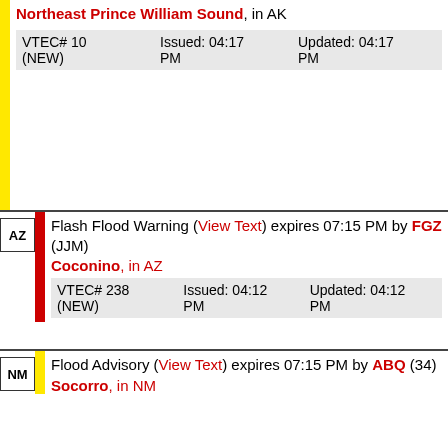Northeast Prince William Sound, in AK
VTEC# 10 (NEW)   Issued: 04:17 PM   Updated: 04:17 PM
Flash Flood Warning (View Text) expires 07:15 PM by FGZ (JJM)
Coconino, in AZ
VTEC# 238 (NEW)   Issued: 04:12 PM   Updated: 04:12 PM
Flood Advisory (View Text) expires 07:15 PM by ABQ (34)
Socorro, in NM
VTEC# 532 (NEW)   Issued: 04:07 PM   Updated: 04:07 PM
Flood Advisory (View Text) expires 07:00 PM by FGZ (JJM)